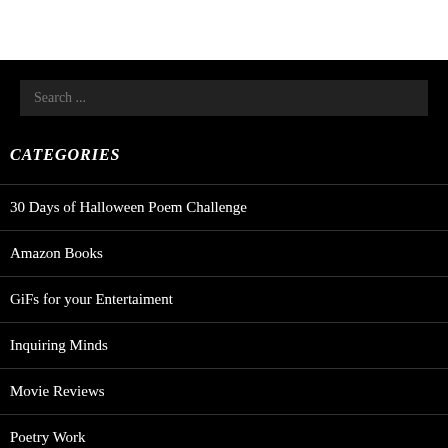Search ...
CATEGORIES
30 Days of Halloween Poem Challenge
Amazon Books
GiFs for your Entertaiment
Inquiring Minds
Movie Reviews
Poetry Work